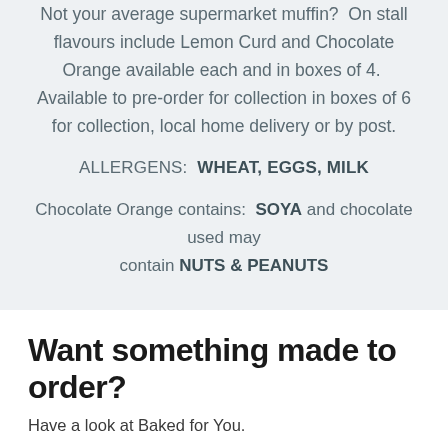Not your average supermarket muffin?  On stall flavours include Lemon Curd and Chocolate Orange available each and in boxes of 4.  Available to pre-order for collection in boxes of 6 for collection, local home delivery or by post.
ALLERGENS:  WHEAT, EGGS, MILK
Chocolate Orange contains:  SOYA and chocolate used may contain NUTS & PEANUTS
Want something made to order?
Have a look at Baked for You.